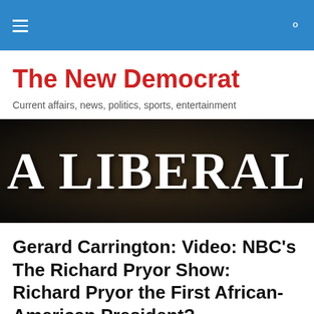The New Democrat
Current affairs, news, politics, sports, entertainment
[Figure (photo): Dark background image with large white serif text reading 'A LIBERAL']
Gerard Carrington: Video: NBC's The Richard Pryor Show: Richard Pryor the First African-American President?